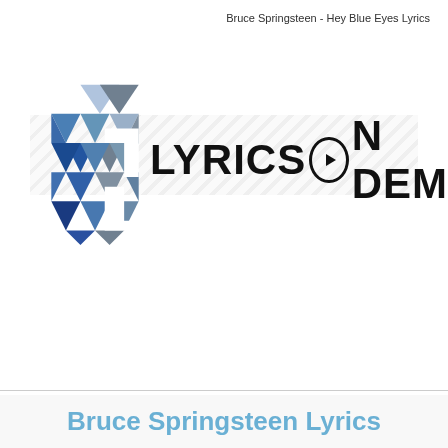Bruce Springsteen - Hey Blue Eyes Lyrics
[Figure (logo): Lyrics On Demand logo with geometric blue/grey triangle mosaic icon and bold text 'LYRICS ON DEMAND' with a play button circle replacing the 'O']
Bruce Springsteen Lyrics